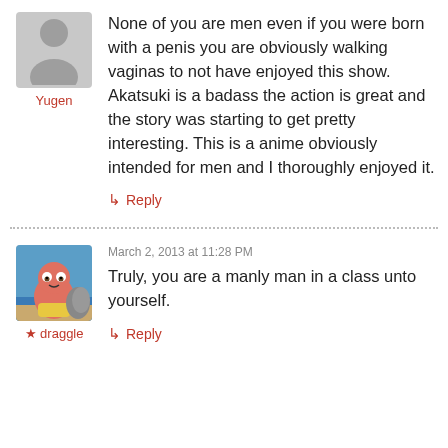[Figure (illustration): Generic grey person/avatar placeholder silhouette icon]
Yugen
None of you are men even if you were born with a penis you are obviously walking vaginas to not have enjoyed this show. Akatsuki is a badass the action is great and the story was starting to get pretty interesting. This is a anime obviously intended for men and I thoroughly enjoyed it.
↳ Reply
March 2, 2013 at 11:28 PM
[Figure (illustration): Cartoon character (Patrick Star from SpongeBob) standing on a beach background]
★ draggle
Truly, you are a manly man in a class unto yourself.
↳ Reply